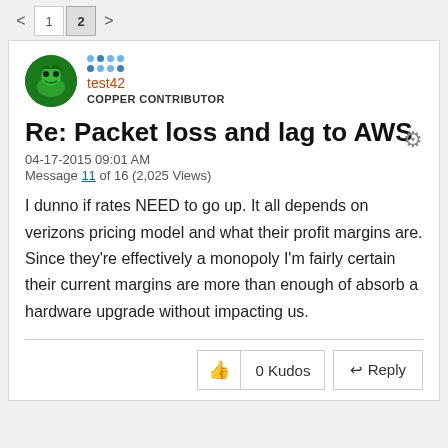< 1 2 >
Re: Packet loss and lag to AWS
04-17-2015 09:01 AM
Message 11 of 16 (2,025 Views)
I dunno if rates NEED to go up. It all depends on verizons pricing model and what their profit margins are. Since they're effectively a monopoly I'm fairly certain their current margins are more than enough of absorb a hardware upgrade without impacting us.
0 Kudos   Reply